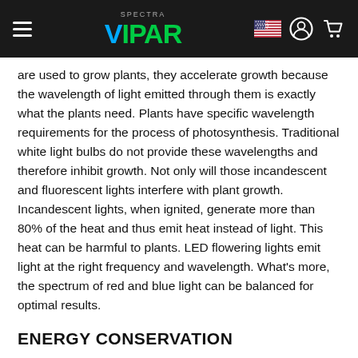VIPAR SPECTRA — website header with logo, flag, account, and cart icons
are used to grow plants, they accelerate growth because the wavelength of light emitted through them is exactly what the plants need. Plants have specific wavelength requirements for the process of photosynthesis. Traditional white light bulbs do not provide these wavelengths and therefore inhibit growth. Not only will those incandescent and fluorescent lights interfere with plant growth. Incandescent lights, when ignited, generate more than 80% of the heat and thus emit heat instead of light. This heat can be harmful to plants. LED flowering lights emit light at the right frequency and wavelength. What's more, the spectrum of red and blue light can be balanced for optimal results.
ENERGY CONSERVATION
These lights can help you save over 75% energy. This